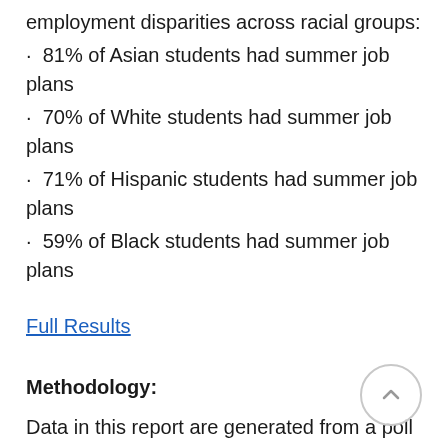employment disparities across racial groups:
· 81% of Asian students had summer job plans
· 70% of White students had summer job plans
· 71% of Hispanic students had summer job plans
· 59% of Black students had summer job plans
Full Results
Methodology:
Data in this report are generated from a poll conducted April 10th-12th, 2020. A